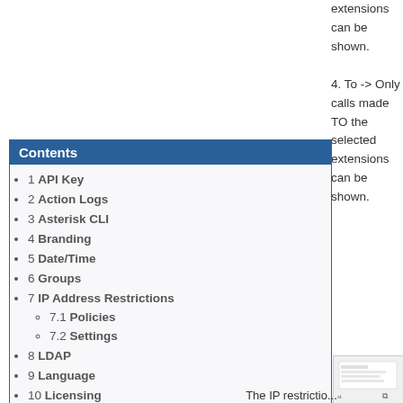extensions can be shown.
4. To - > Only calls made TO the selected extensions can be shown.
Contents
1 API Key
2 Action Logs
3 Asterisk CLI
4 Branding
5 Date/Time
6 Groups
7 IP Address Restrictions
7.1 Policies
7.2 Settings
8 LDAP
9 Language
10 Licensing
11 SMTP Configuration
12 Sessions
13 Site Administrators
14 Site Users
xt
ldress rictions
Restrictions
The IP restrictio...